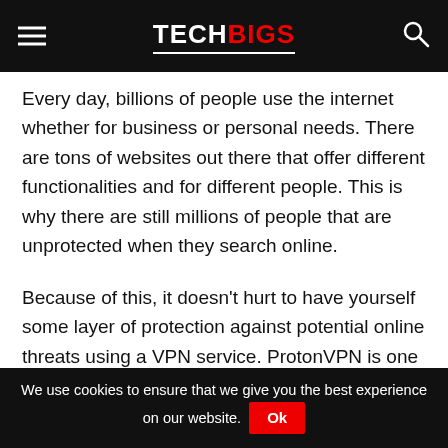TECHBIGS
Every day, billions of people use the internet whether for business or personal needs. There are tons of websites out there that offer different functionalities and for different people. This is why there are still millions of people that are unprotected when they search online.
Because of this, it doesn’t hurt to have yourself some layer of protection against potential online threats using a VPN service. ProtonVPN is one of the most trusted and most popular when it comes to protecting yourself online. Its multi-layered protection gives it an edge among its
We use cookies to ensure that we give you the best experience on our website. Ok